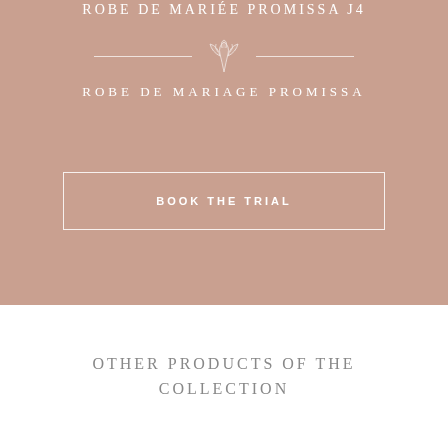ROBE DE MARIÉE PROMISSA J4
[Figure (illustration): Decorative floral ornament divider with horizontal lines on each side]
ROBE DE MARIAGE PROMISSA
BOOK THE TRIAL
OTHER PRODUCTS OF THE COLLECTION